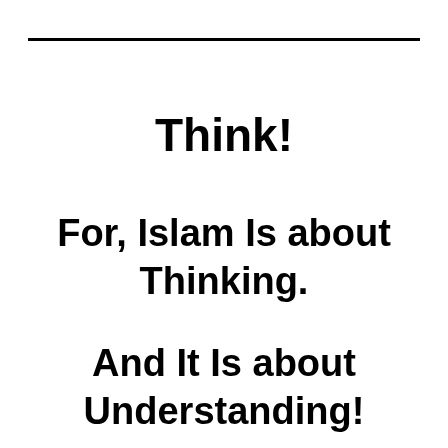Think!
For, Islam Is about Thinking.
And It Is about Understanding!